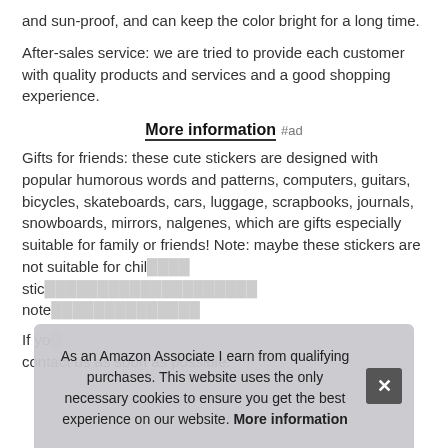and sun-proof, and can keep the color bright for a long time.
After-sales service: we are tried to provide each customer with quality products and services and a good shopping experience.
More information #ad
Gifts for friends: these cute stickers are designed with popular humorous words and patterns, computers, guitars, bicycles, skateboards, cars, luggage, scrapbooks, journals, snowboards, mirrors, nalgenes, which are gifts especially suitable for family or friends! Note: maybe these stickers are not suitable for chil... stic... note...
If yo... contact us as soon as possible.
As an Amazon Associate I earn from qualifying purchases. This website uses the only necessary cookies to ensure you get the best experience on our website. More information